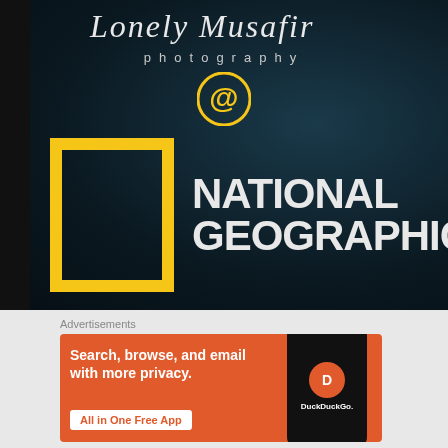[Figure (screenshot): Dark background image showing 'Lonely Musafir Photography' script text above a golden '@' symbol and the National Geographic logo (yellow border rectangle) with white text 'NATIONAL GEOGRAPHIC' on a dark oceanic background.]
Advertisements
[Figure (screenshot): DuckDuckGo advertisement banner with orange background. Text reads: 'Search, browse, and email with more privacy. All in One Free App'. Shows a phone mockup with DuckDuckGo logo and 'DuckDuckGo.' text.]